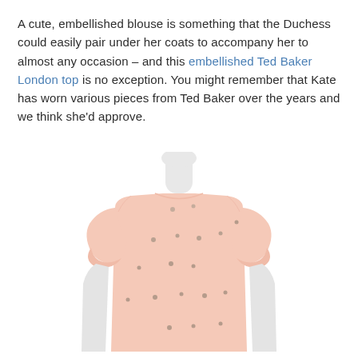A cute, embellished blouse is something that the Duchess could easily pair under her coats to accompany her to almost any occasion – and this embellished Ted Baker London top is no exception. You might remember that Kate has worn various pieces from Ted Baker over the years and we think she'd approve.
[Figure (photo): A mannequin wearing a light pink embellished Ted Baker London top with small jewel/crystal embellishments scattered across the front, short sleeves with cuffed ends, and a round neckline.]